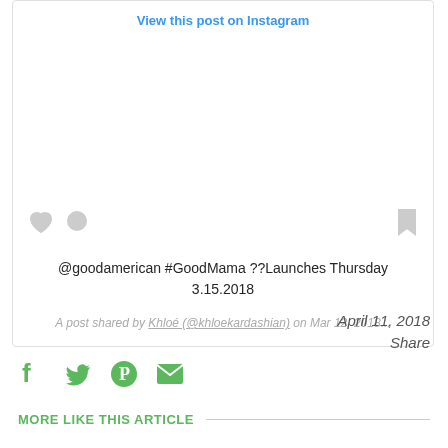[Figure (screenshot): Instagram embed widget showing a post by Khloe Kardashian with 'View this post on Instagram' link, heart/comment/bookmark icons, caption text about @goodamerican #GoodMama launch, and attribution line]
April 11, 2018
Share
[Figure (infographic): Social share icons: Facebook, Twitter, Pinterest, Email in green]
MORE LIKE THIS ARTICLE